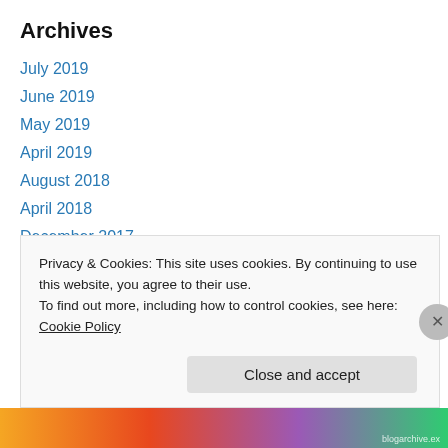Archives
July 2019
June 2019
May 2019
April 2019
August 2018
April 2018
December 2017
October 2017
September 2017
August 2017
December 2016
Privacy & Cookies: This site uses cookies. By continuing to use this website, you agree to their use.
To find out more, including how to control cookies, see here: Cookie Policy
Close and accept